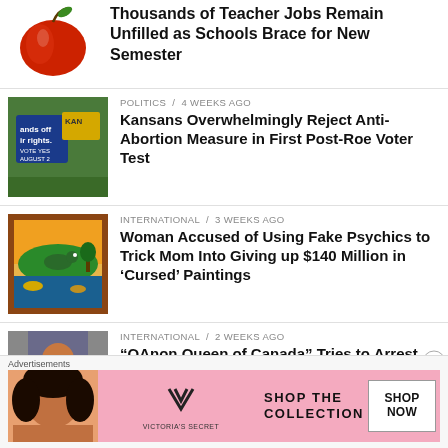Thousands of Teacher Jobs Remain Unfilled as Schools Brace for New Semester
POLITICS / 4 weeks ago
Kansans Overwhelmingly Reject Anti-Abortion Measure in First Post-Roe Voter Test
INTERNATIONAL / 3 weeks ago
Woman Accused of Using Fake Psychics to Trick Mom Into Giving up $140 Million in ‘Cursed’ Paintings
INTERNATIONAL / 2 weeks ago
“QAnon Queen of Canada” Tries to Arrest Entire Police Department With 30 Followers
POLITICS / 3 weeks ago
Advertisements
[Figure (photo): Victoria's Secret advertisement banner with model, logo, and Shop The Collection / Shop Now button]